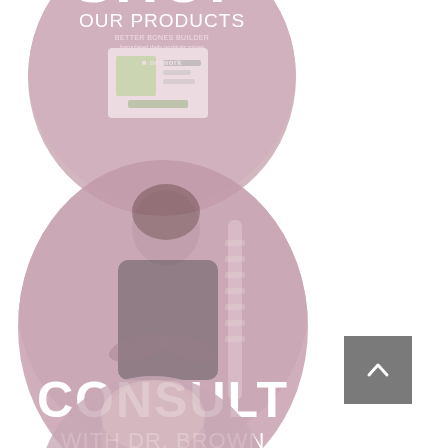[Figure (illustration): Circular badge with pink/mauve background showing the text SHOP OUR PRODUCTS with a product image (Better Bones Builder supplement with network logo)]
[Figure (photo): Large circular image with mauve/pink overlay showing Dr. Brown (a woman with dark hair) with a spine anatomy model, overlaid with bold white text CONSULT WITH DR. BROWN]
[Figure (photo): Partial circular image at the bottom of the page, cropped, showing a person's face/head]
[Figure (other): Gray scroll-to-top button with upward chevron arrow in the lower right area of the page]